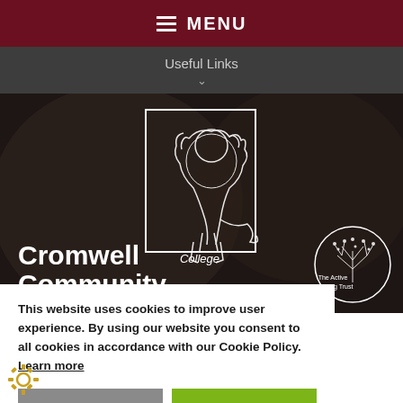MENU
Useful Links
[Figure (screenshot): Cromwell Community College hero banner with students in background. White text logo reads 'Cromwell Community College' with a lion crest in a rectangular border. The Active Learning Trust logo appears in the bottom right.]
This website uses cookies to improve user experience. By using our website you consent to all cookies in accordance with our Cookie Policy. Learn more
DECLINE
ACCEPT